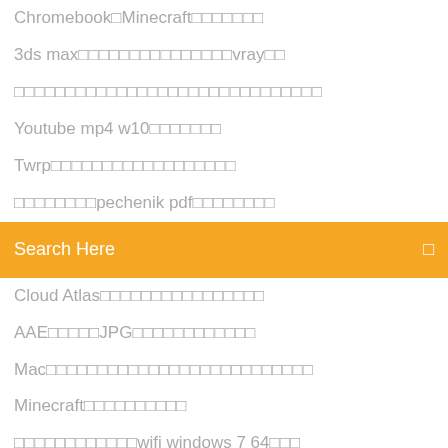Chromebook□Minecraft□□□□□□□
3ds max□□□□□□□□□□□□□□□vray□□
□□□□□□□□□□□□□□□□□□□□□□□□□□□□□□
Youtube mp4 w10□□□□□□□
Twrp□□□□□□□□□□□□□□□□□□
□□□□□□□□pechenik pdf□□□□□□□□
Search Here
Cloud Atlas□□□□□□□□□□□□□□□□
AAE□□□□□JPG□□□□□□□□□□□□
Mac□□□□□□□□□□□□□□□□□□□□□□□□□□
Minecraft□□□□□□□□□□
□□□□□□□□□□□□wifi windows 7 64□□□
Firefox android□□□□□□□□□
PC□□pron□□□□□□□□□□□□
Downloading Five Nights in Garry's Mod Your download should begin in just a moment.